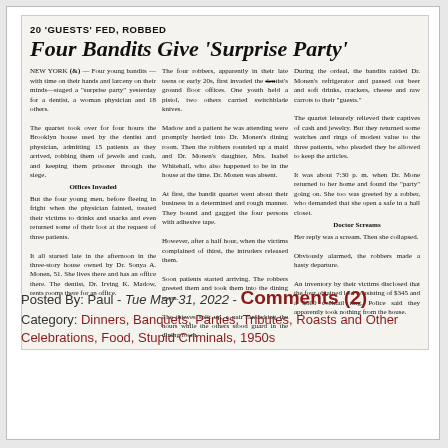[Figure (photo): Scanned newspaper clipping with headline '20 GUESTS FED, ROBBED / Four Bandits Give Surprise Party' and three-column article text about a robbery at a Brooklyn dentist's house.]
Posted By: Paul - Tue May 31, 2022 - Comments (2)
Category: Dinners, Banquets, Parties, Tributes, Roasts and Other Celebrations, Food, Stupid Criminals, 1950s